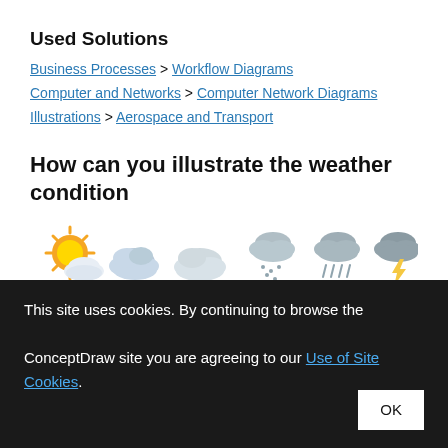Used Solutions
Business Processes > Workflow Diagrams
Computer and Networks > Computer Network Diagrams
Illustrations > Aerospace and Transport
How can you illustrate the weather condition
[Figure (illustration): Weather condition icons: Sunny, Cloudy, Overcast, Snow, Rain, Thunder]
This site uses cookies. By continuing to browse the ConceptDraw site you are agreeing to our Use of Site Cookies.